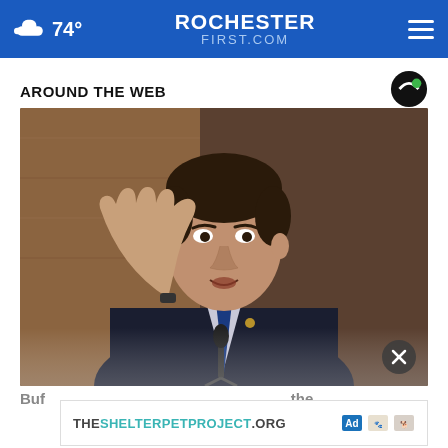74° ROCHESTERFIRST.COM
AROUND THE WEB
[Figure (photo): A man in a dark suit with a blue tie speaking at a hearing, raising one hand, with a microphone in front of him, seated in what appears to be a congressional or formal hearing room with wood paneling background.]
Buf... the...
[Figure (other): Ad banner for THESHELTERPETPROJECT.ORG with AdChoices icon and partner logos]